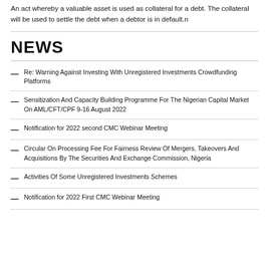An act whereby a valuable asset is used as collateral for a debt. The collateral will be used to settle the debt when a debtor is in default.n
NEWS
Re: Warning Against Investing With Unregistered Investments Crowdfunding Platforms
Sensitization And Capacity Building Programme For The Nigerian Capital Market On AML/CFT/CPF 9-16 August 2022
Notification for 2022 second CMC Webinar Meeting
Circular On Processing Fee For Fairness Review Of Mergers, Takeovers And Acquisitions By The Securities And Exchange Commission, Nigeria
Activities Of Some Unregistered Investments Schemes
Notification for 2022 First CMC Webinar Meeting